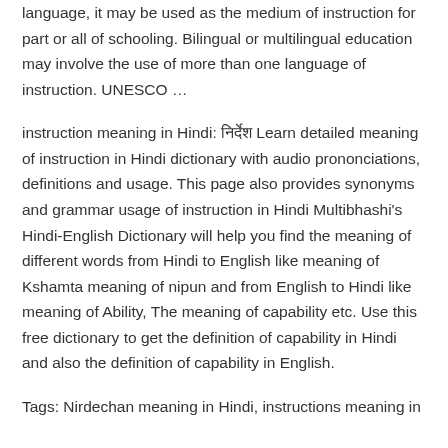first language of students is different from the official language, it may be used as the medium of instruction for part or all of schooling. Bilingual or multilingual education may involve the use of more than one language of instruction. UNESCO …
instruction meaning in Hindi: निर्देश Learn detailed meaning of instruction in Hindi dictionary with audio prononciations, definitions and usage. This page also provides synonyms and grammar usage of instruction in Hindi Multibhashi's Hindi-English Dictionary will help you find the meaning of different words from Hindi to English like meaning of Kshamta meaning of nipun and from English to Hindi like meaning of Ability, The meaning of capability etc. Use this free dictionary to get the definition of capability in Hindi and also the definition of capability in English.
Tags: Nirdechan meaning in Hindi, instructions meaning in